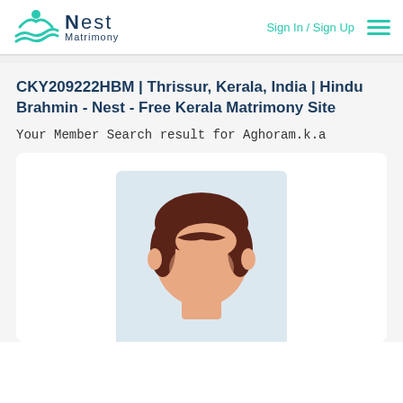Nest Matrimony — Sign In / Sign Up
CKY209222HBM | Thrissur, Kerala, India | Hindu Brahmin - Nest - Free Kerala Matrimony Site
Your Member Search result for Aghoram.k.a
[Figure (illustration): Generic male avatar illustration showing a man's head and shoulders with brown hair on a light blue-grey background, used as a profile photo placeholder.]